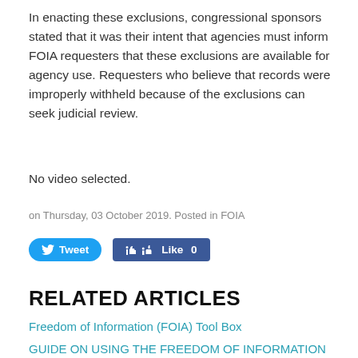In enacting these exclusions, congressional sponsors stated that it was their intent that agencies must inform FOIA requesters that these exclusions are available for agency use. Requesters who believe that records were improperly withheld because of the exclusions can seek judicial review.
No video selected.
on Thursday, 03 October 2019. Posted in FOIA
[Figure (other): Social sharing buttons: Tweet (Twitter) and Like 0 (Facebook)]
RELATED ARTICLES
Freedom of Information (FOIA) Tool Box
GUIDE ON USING THE FREEDOM OF INFORMATION